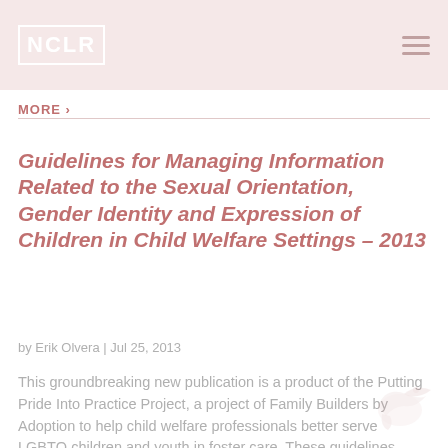NCLR
MORE ›
Guidelines for Managing Information Related to the Sexual Orientation, Gender Identity and Expression of Children in Child Welfare Settings – 2013
by Erik Olvera | Jul 25, 2013
This groundbreaking new publication is a product of the Putting Pride Into Practice Project, a project of Family Builders by Adoption to help child welfare professionals better serve LGBTQ children and youth in foster care. These guidelines provide much-needed direction to child welfare agencies on best to collect, record, and disclose informatio...